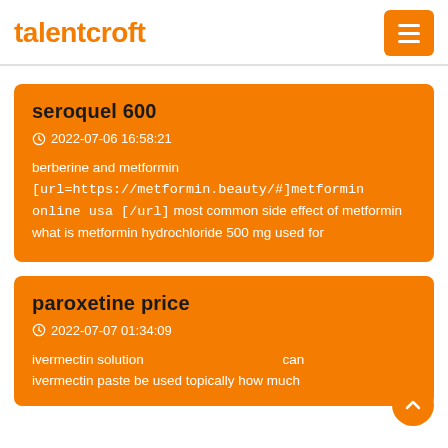talentcroft
seroquel 600
2022-07-06 16:58:21
berberine and metformin [url=https://metformin.beauty/#]metformin online usa [/url] most common side effect of metformin what is metformin hydrochloride 500 mg used for
paroxetine price
2022-07-07 01:34:09
ivermectin solution can ivermectin paste be used topically how much